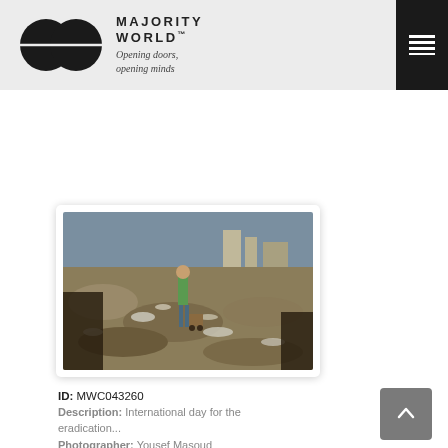[Figure (logo): Majority World logo with two overlapping circles and text 'MAJORITY WORLD™ Opening doors, opening minds']
[Figure (photo): Children scavenging at a rubbish dump site with urban buildings in the background. International day for the eradication of poverty photo.]
ID: MWC043260
Description: International day for the eradication...
Photographer: Yousef Masoud